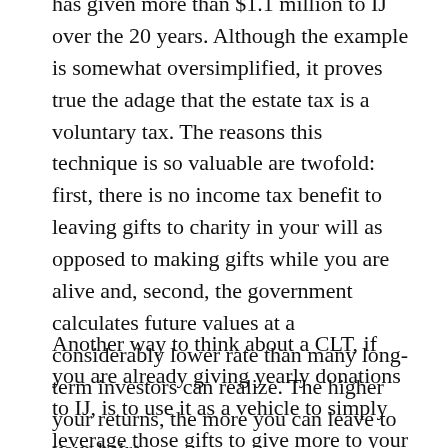has given more than $1.1 million to IJ over the 20 years. Although the example is somewhat oversimplified, it proves true the adage that the estate tax is a voluntary tax. The reasons this technique is so valuable are twofold: first, there is no income tax benefit to leaving gifts to charity in your will as opposed to making gifts while you are alive and, second, the government calculates future values at a considerably lower rate than many long-term investors can realize. The higher your returns, the more you can leave to your heirs.
Another way to think about a CLT, if you are already giving yearly donations to IJ, is to use it as a vehicle to simply leverage those gifts to give more to your children tax-free. By making those gifts within a CLT structure you can potentially avoid millions of